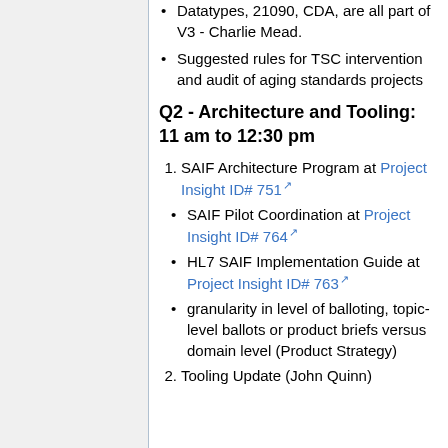Datatypes, 21090, CDA, are all part of V3 - Charlie Mead.
Suggested rules for TSC intervention and audit of aging standards projects
Q2 - Architecture and Tooling: 11 am to 12:30 pm
SAIF Architecture Program at Project Insight ID# 751
SAIF Pilot Coordination at Project Insight ID# 764
HL7 SAIF Implementation Guide at Project Insight ID# 763
granularity in level of balloting, topic-level ballots or product briefs versus domain level (Product Strategy)
Tooling Update (John Quinn)